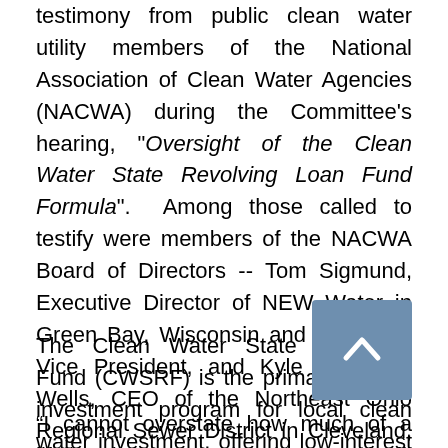testimony from public clean water utility members of the National Association of Clean Water Agencies (NACWA) during the Committee's hearing, "Oversight of the Clean Water State Revolving Loan Fund Formula". Among those called to testify were members of the NACWA Board of Directors -- Tom Sigmund, Executive Director of NEW Water in Green Bay, Wisconsin and NACWA's Vice President, and Kyle Dreyfuss-Wells, CEO of the Northeast Ohio Regional Sewer District in Cleveland, Ohio.
The Clean Water State Revolving Fund (CWSRF) is the primary federal investment program for local clean water investment, offering low-interest loans to public utilities for water quality infrastructure projects.
“I cannot overstate how much of a lifeline the CWSRF has been, and still is, for clean water utilities across this